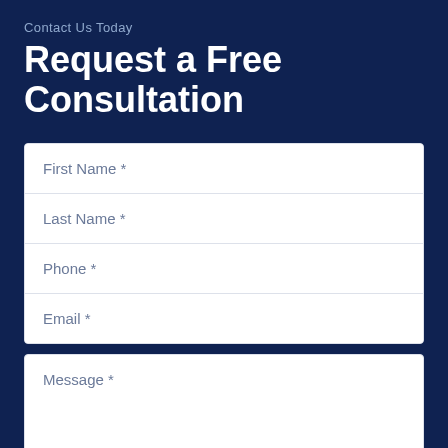Contact Us Today
Request a Free Consultation
First Name *
Last Name *
Phone *
Email *
Message *